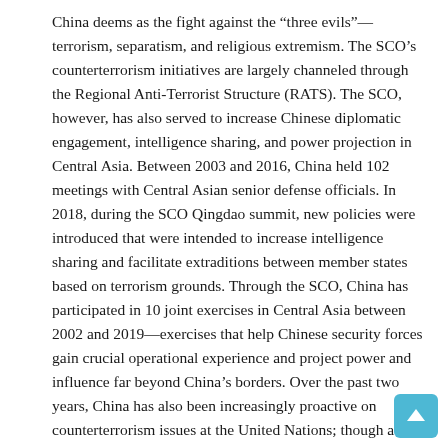China deems as the fight against the “three evils”—terrorism, separatism, and religious extremism. The SCO’s counterterrorism initiatives are largely channeled through the Regional Anti-Terrorist Structure (RATS). The SCO, however, has also served to increase Chinese diplomatic engagement, intelligence sharing, and power projection in Central Asia. Between 2003 and 2016, China held 102 meetings with Central Asian senior defense officials. In 2018, during the SCO Qingdao summit, new policies were introduced that were intended to increase intelligence sharing and facilitate extraditions between member states based on terrorism grounds. Through the SCO, China has participated in 10 joint exercises in Central Asia between 2002 and 2019—exercises that help Chinese security forces gain crucial operational experience and project power and influence far beyond China’s borders. Over the past two years, China has also been increasingly proactive on counterterrorism issues at the United Nations; though a permanent member of the Security Council, China has not traditionally led new policy initiatives on counterterrorism in that venue. However, in September 2019, the UN Security Council hosted a debate on the contribution of the Collective Security Treaty Organization, Commonwealth of Independent States, and Shanghai Cooperation Organization in counterterrorism cooperation.